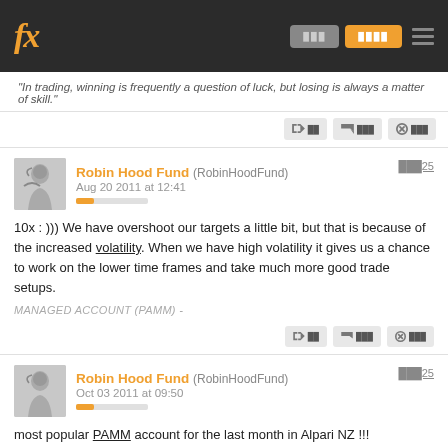fx [navigation buttons] [menu]
"In trading, winning is frequently a question of luck, but losing is always a matter of skill."
Robin Hood Fund (RobinHoodFund) Aug 20 2011 at 12:41 — post #25
10x : ))) We have overshoot our targets a little bit, but that is because of the increased volatility. When we have high volatility it gives us a chance to work on the lower time frames and take much more good trade setups.
MANAGED ACCOUNT (PAMM) -
Robin Hood Fund (RobinHoodFund) Oct 03 2011 at 09:50 — post #25
most popular PAMM account for the last month in Alpari NZ !!!